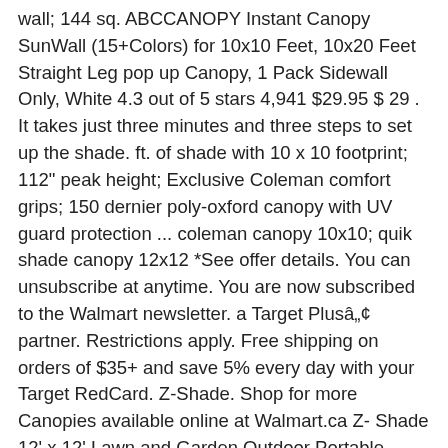wall; 144 sq. ABCCANOPY Instant Canopy SunWall (15+Colors) for 10x10 Feet, 10x20 Feet Straight Leg pop up Canopy, 1 Pack Sidewall Only, White 4.3 out of 5 stars 4,941 $29.95 $ 29 . It takes just three minutes and three steps to set up the shade. ft. of shade with 10 x 10 footprint; 112" peak height; Exclusive Coleman comfort grips; 150 dernier poly-oxford canopy with UV guard protection ... coleman canopy 10x10; quik shade canopy 12x12 *See offer details. You can unsubscribe at anytime. You are now subscribed to the Walmart newsletter. a Target Plus™ partner. Restrictions apply. Free shipping on orders of $35+ and save 5% every day with your Target RedCard. Z-Shade. Shop for more Canopies available online at Walmart.ca Z- Shade 12' x 12' Lawn and Garden Outdoor Portable Canopy with Skirts, Tan. Z-Shade. Z- Shade 12' x 12' Lawn and Garden Outdoor Portable Canopy â€¦ 95 Z-Shade. Sold and shipped by VM Express. Caravan Canopy Sports 21208100060 Caravan M-Series 2 Pro 12 X 12